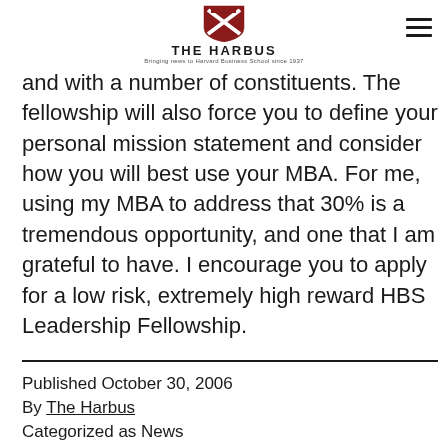THE HARBUS
and with a number of constituents. The fellowship will also force you to define your personal mission statement and consider how you will best use your MBA. For me, using my MBA to address that 30% is a tremendous opportunity, and one that I am grateful to have. I encourage you to apply for a low risk, extremely high reward HBS Leadership Fellowship.
Published October 30, 2006
By The Harbus
Categorized as News